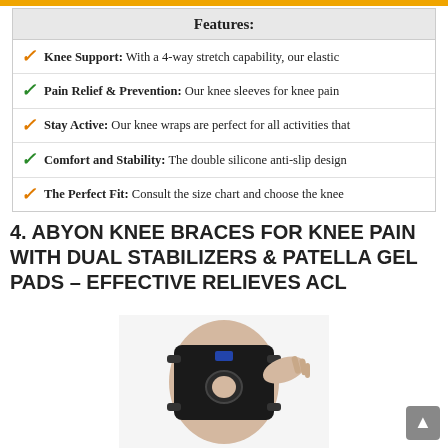Features:
Knee Support: With a 4-way stretch capability, our elastic
Pain Relief & Prevention: Our knee sleeves for knee pain
Stay Active: Our knee wraps are perfect for all activities that
Comfort and Stability: The double silicone anti-slip design
The Perfect Fit: Consult the size chart and choose the knee
4. ABYON KNEE BRACES FOR KNEE PAIN WITH DUAL STABILIZERS & PATELLA GEL PADS – EFFECTIVE RELIEVES ACL
[Figure (photo): Photo of a knee brace being worn on a leg, showing a black open-patella knee support with straps being adjusted by a hand.]